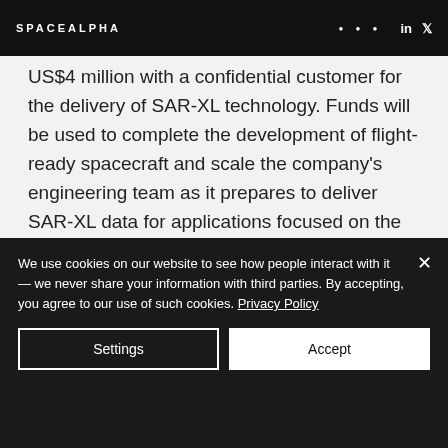SPACEALPHA
US$4 million with a confidential customer for the delivery of SAR-XL technology. Funds will be used to complete the development of flight-ready spacecraft and scale the company's engineering team as it prepares to deliver SAR-XL data for applications focused on the infrastructure, government, maritime, and environmental monitoring sectors.
We use cookies on our website to see how people interact with it — we never share your information with third parties. By accepting, you agree to our use of such cookies. Privacy Policy
Settings
Accept